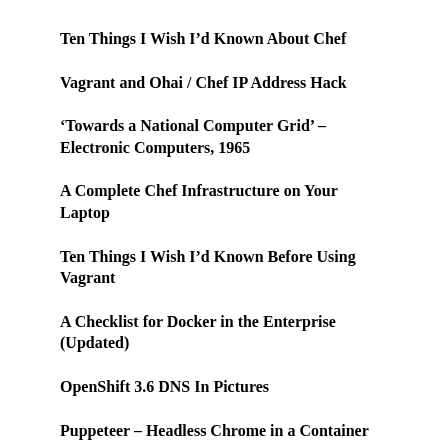Ten Things I Wish I’d Known About Chef
Vagrant and Ohai / Chef IP Address Hack
‘Towards a National Computer Grid’ – Electronic Computers, 1965
A Complete Chef Infrastructure on Your Laptop
Ten Things I Wish I’d Known Before Using Vagrant
A Checklist for Docker in the Enterprise (Updated)
OpenShift 3.6 DNS In Pictures
Puppeteer – Headless Chrome in a Container
My 20-Year Experience of Software Development Methodologies